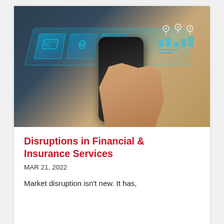[Figure (photo): Person holding a smartphone with holographic digital icons (security shield, pie chart, location pins, bar graphs) floating above the phone screen in blue/cyan tones. Background is dark teal/grey with a yellow-clothed figure.]
Disruptions in Financial & Insurance Services
MAR 21, 2022
Market disruption isn't new. It has,